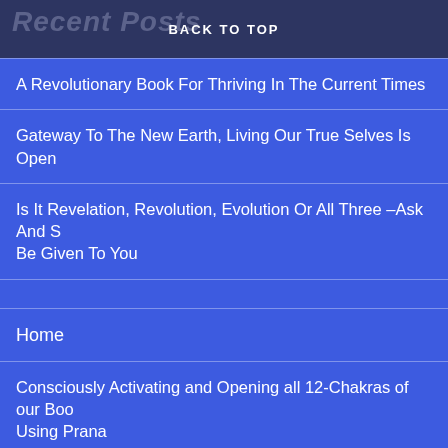Recent Posts | BACK TO TOP
A Revolutionary Book For Thriving In The Current Times
Gateway To The New Earth, Living Our True Selves Is Open
Is It Revelation, Revolution, Evolution Or All Three – Ask And S... Be Given To You
Home
Consciously Activating and Opening all 12-Chakras of our Boo... Using Prana
SOUL Channel Technique
All Testimonials